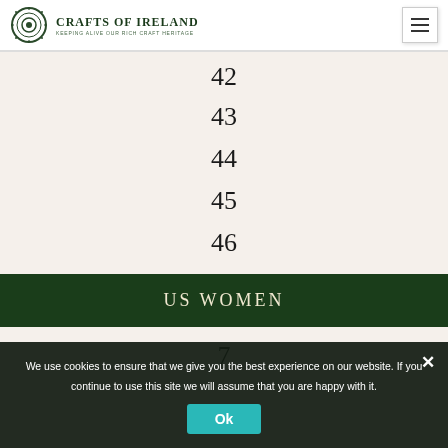CRAFTS OF IRELAND — KEEPING ALIVE OUR RICH CRAFT HERITAGE
42
43
44
45
46
US WOMEN
7
We use cookies to ensure that we give you the best experience on our website. If you continue to use this site we will assume that you are happy with it.